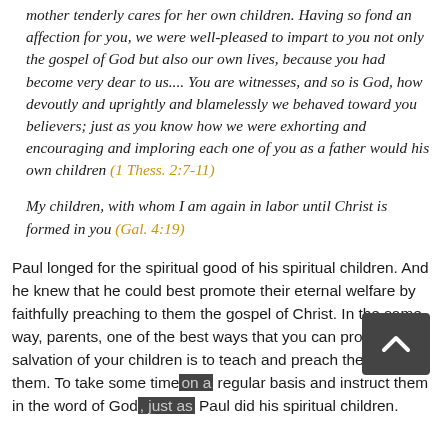mother tenderly cares for her own children. Having so fond an affection for you, we were well-pleased to impart to you not only the gospel of God but also our own lives, because you had become very dear to us.... You are witnesses, and so is God, how devoutly and uprightly and blamelessly we behaved toward you believers; just as you know how we were exhorting and encouraging and imploring each one of you as a father would his own children (1 Thess. 2:7-11)
My children, with whom I am again in labor until Christ is formed in you (Gal. 4:19)
Paul longed for the spiritual good of his spiritual children. And he knew that he could best promote their eternal welfare by faithfully preaching to them the gospel of Christ. In the same way, parents, one of the best ways that you can promote the salvation of your children is to teach and preach the gospel to them. To take some time on a regular basis and instruct them in the word of God, just as Paul did his spiritual children.